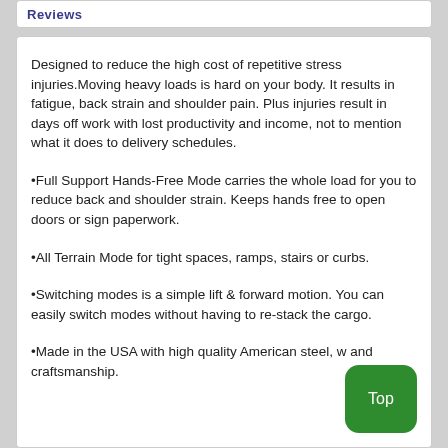Reviews
Designed to reduce the high cost of repetitive stress injuries.Moving heavy loads is hard on your body. It results in fatigue, back strain and shoulder pain. Plus injuries result in days off work with lost productivity and income, not to mention what it does to delivery schedules.
•Full Support Hands-Free Mode carries the whole load for you to reduce back and shoulder strain. Keeps hands free to open doors or sign paperwork.
•All Terrain Mode for tight spaces, ramps, stairs or curbs.
•Switching modes is a simple lift & forward motion. You can easily switch modes without having to re-stack the cargo.
•Made in the USA with high quality American steel, w and craftsmanship.